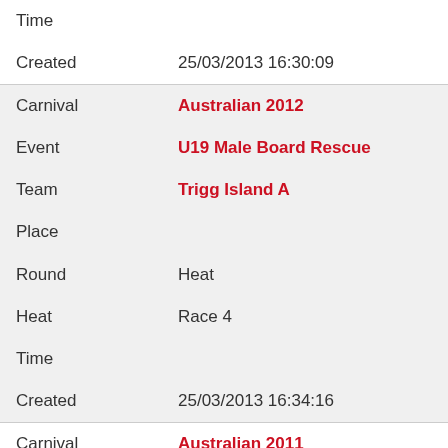| Field | Value |
| --- | --- |
| Time |  |
| Created | 25/03/2013 16:30:09 |
| Carnival | Australian 2012 |
| Event | U19 Male Board Rescue |
| Team | Trigg Island A |
| Place |  |
| Round | Heat |
| Heat | Race 4 |
| Time |  |
| Created | 25/03/2013 16:34:16 |
| Carnival | Australian 2011 |
| Event | Open Mixed Double Ski |
| Team | Trigg Island A |
| Place | 666 |